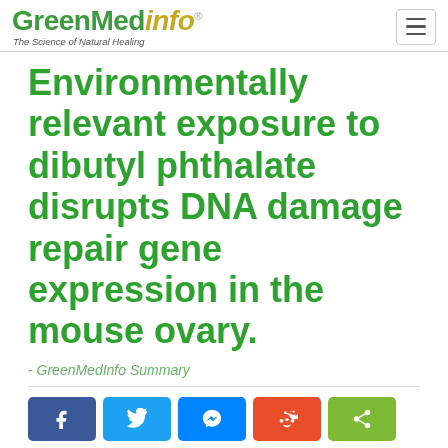GreenMedInfo - The Science of Natural Healing
Environmentally relevant exposure to dibutyl phthalate disrupts DNA damage repair gene expression in the mouse ovary.
- GreenMedInfo Summary
[Figure (other): Social share buttons: Facebook, Twitter, Messenger, Reddit, and a green share button]